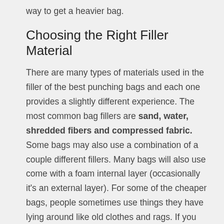way to get a heavier bag.
Choosing the Right Filler Material
There are many types of materials used in the filler of the best punching bags and each one provides a slightly different experience. The most common bag fillers are sand, water, shredded fibers and compressed fabric. Some bags may also use a combination of a couple different fillers. Many bags will also use come with a foam internal layer (occasionally it's an external layer). For some of the cheaper bags, people sometimes use things they have lying around like old clothes and rags. If you don't access easy access to the normal bag fillers you can do that, but we suggest sticking with bags that come pre-filled with standard materials or adding the standard fillers yourself. All the main filler materials have their advantages and disadvantages, which we explain in